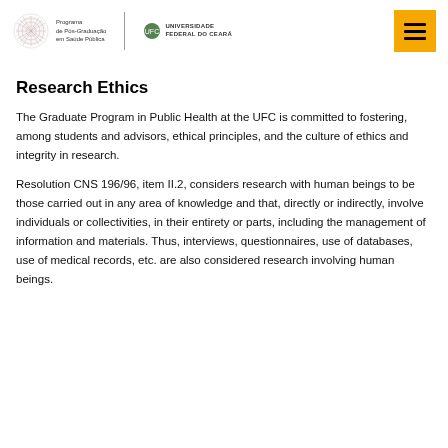Programa de Pós-Graduação em Saúde Pública | Universidade Federal do Ceará
Research Ethics
The Graduate Program in Public Health at the UFC is committed to fostering, among students and advisors, ethical principles, and the culture of ethics and integrity in research.
Resolution CNS 196/96, item II.2, considers research with human beings to be those carried out in any area of knowledge and that, directly or indirectly, involve individuals or collectivities, in their entirety or parts, including the management of information and materials. Thus, interviews, questionnaires, use of databases, use of medical records, etc. are also considered research involving human beings.